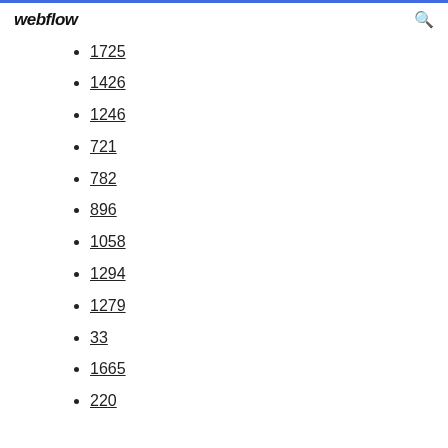webflow
1725
1426
1246
721
782
896
1058
1294
1279
33
1665
220